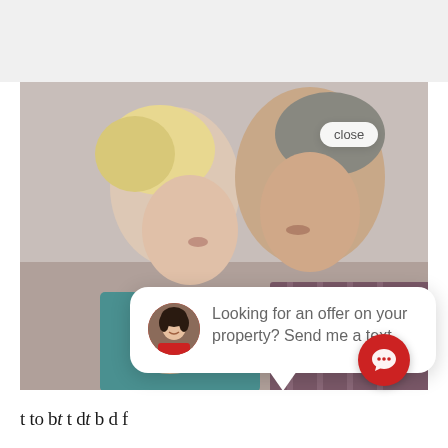[Figure (photo): An elderly couple embracing and kissing, the man kissing the woman on the cheek. Both have grey/blonde hair. A chat popup overlay is visible showing an avatar of a woman and the text 'Looking for an offer on your property? Send me a text.' with a close button and a red chat icon circle.]
t to b t t d t b d f